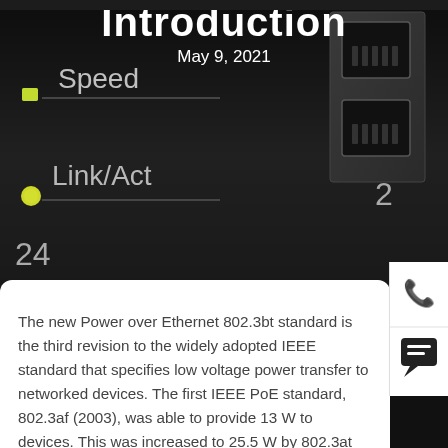Introduction
May 9, 2021
[Figure (photo): Close-up photo of a network switch panel showing Speed and Link/Act indicator labels with LED lights, port numbers 24 and 2, and RJ45 ethernet ports on a dark background.]
The new Power over Ethernet 802.3bt standard is the third revision to the widely adopted IEEE standard that specifies low voltage power transfer to networked devices. The first IEEE PoE standard, 802.3af (2003), was able to provide 13 W to devices. This was increased to 25.5 W by 802.3at (2009). With 802.3bt, the amount of power available for devices increases